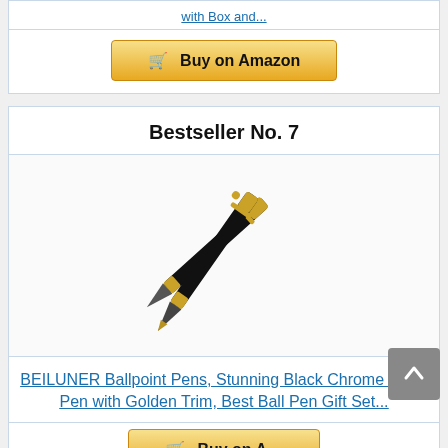with Box and...
Buy on Amazon
Bestseller No. 7
[Figure (photo): Two black and gold ballpoint pens crossed over each other, shown diagonally against a white background.]
BEILUNER Ballpoint Pens, Stunning Black Chrome Metal Pen with Golden Trim, Best Ball Pen Gift Set...